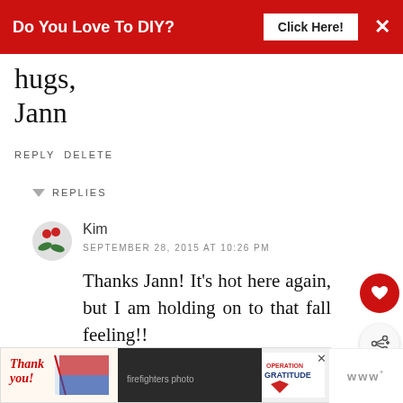Do You Love To DIY? Click Here! ×
hugs,
Jann
REPLY DELETE
▼ REPLIES
Kim
SEPTEMBER 28, 2015 AT 10:26 PM
Thanks Jann! It's hot here again, but I am holding on to that fall feeling!!
DELETE
[Figure (infographic): What's Next → Decorating For Fall: The... with small thumbnail image of a cake stand]
[Figure (photo): Bottom advertisement banner showing Operation Gratitude with firefighters and thank you text]